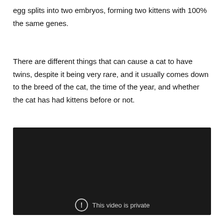egg splits into two embryos, forming two kittens with 100% the same genes.
There are different things that can cause a cat to have twins, despite it being very rare, and it usually comes down to the breed of the cat, the time of the year, and whether the cat has had kittens before or not.
[Figure (screenshot): Embedded video player with black background showing 'This video is private' message with a circular exclamation icon.]